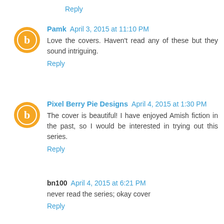Reply
Pamk April 3, 2015 at 11:10 PM
Love the covers. Haven't read any of these but they sound intriguing.
Reply
Pixel Berry Pie Designs April 4, 2015 at 1:30 PM
The cover is beautiful! I have enjoyed Amish fiction in the past, so I would be interested in trying out this series.
Reply
bn100 April 4, 2015 at 6:21 PM
never read the series; okay cover
Reply